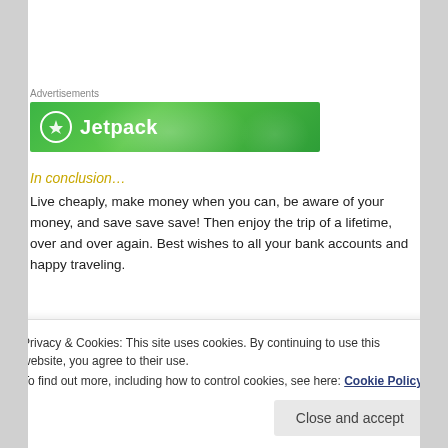Advertisements
[Figure (illustration): Jetpack advertisement banner: green gradient background with Jetpack logo (circular lightning bolt icon) and 'Jetpack' text in white]
In conclusion…
Live cheaply, make money when you can, be aware of your money, and save save save! Then enjoy the trip of a lifetime, over and over again. Best wishes to all your bank accounts and happy traveling.
Privacy & Cookies: This site uses cookies. By continuing to use this website, you agree to their use.
To find out more, including how to control cookies, see here: Cookie Policy